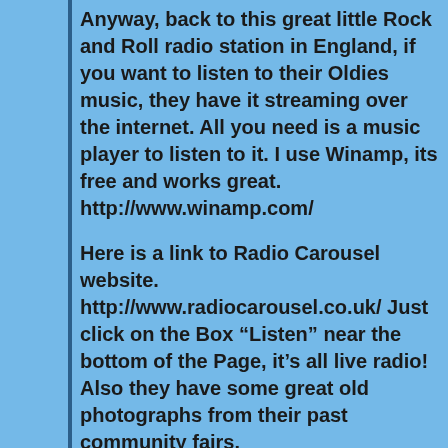Anyway, back to this great little Rock and Roll radio station in England, if you want to listen to their Oldies music, they have it streaming over the internet. All you need is a music player to listen to it. I use Winamp, its free and works great. http://www.winamp.com/
Here is a link to Radio Carousel website. http://www.radiocarousel.co.uk/ Just click on the Box “Listen” near the bottom of the Page, it’s all live radio! Also they have some great old photographs from their past community fairs.
See you all next Saturday!
Patrick Dobbs